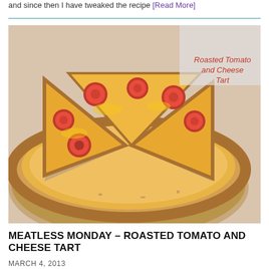and since then I have tweaked the recipe [Read More]
[Figure (photo): A roasted tomato and cheese tart, sliced into pieces on a wooden board, with visible melted cheese and roasted cherry tomatoes on top of a golden pastry crust. Text overlay reads 'Roasted Tomato and Cheese Tart' in red italic font.]
MEATLESS MONDAY – ROASTED TOMATO AND CHEESE TART
MARCH 4, 2013